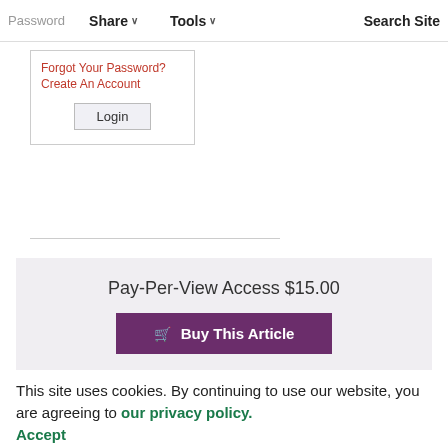Password  Share ∨  Tools ∨  Search Site
[Figure (screenshot): Login form box with 'Forgot Your Password?' and 'Create An Account' links in red/orange, and a Login button]
Pay-Per-View Access $15.00
🛒 Buy This Article
This site uses cookies. By continuing to use our website, you are agreeing to our privacy policy. Accept